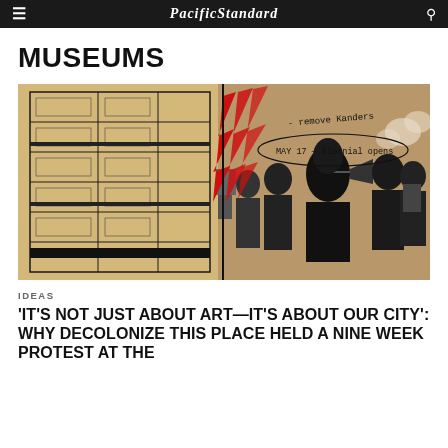PacificStandard
MUSEUMS
[Figure (illustration): Composite illustration showing an architectural floor plan drawing of a multi-story building overlaid with a black-and-white halftone photograph of protesters, one holding a megaphone. Red lightning bolt shapes, handwritten text reading '- remove Kanders' and a circled note 'MAY 17 — biennial opens' annotate the image. Sepia/tan background tone throughout.]
IDEAS
'IT'S NOT JUST ABOUT ART—IT'S ABOUT OUR CITY': WHY DECOLONIZE THIS PLACE HELD A NINE WEEK PROTEST AT THE